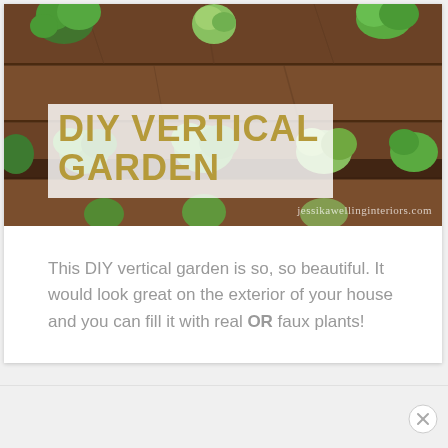[Figure (photo): DIY vertical garden with plants growing in horizontal wooden plank rows, dark brown wood, various green herbs and succulents visible. Text overlay reads 'DIY VERTICAL GARDEN' in gold on white background. Watermark 'jessikawellinginteriors.com' at bottom right.]
This DIY vertical garden is so, so beautiful. It would look great on the exterior of your house and you can fill it with real OR faux plants!